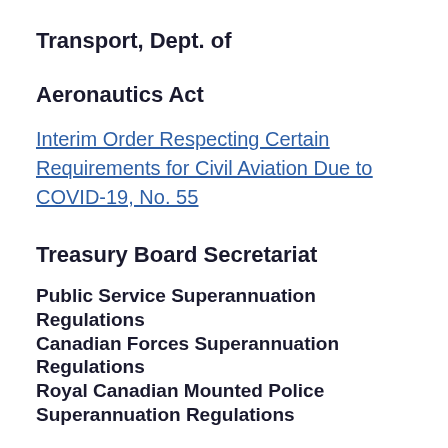Transport, Dept. of
Aeronautics Act
Interim Order Respecting Certain Requirements for Civil Aviation Due to COVID-19, No. 55
Treasury Board Secretariat
Public Service Superannuation Regulations
Canadian Forces Superannuation Regulations
Royal Canadian Mounted Police Superannuation Regulations